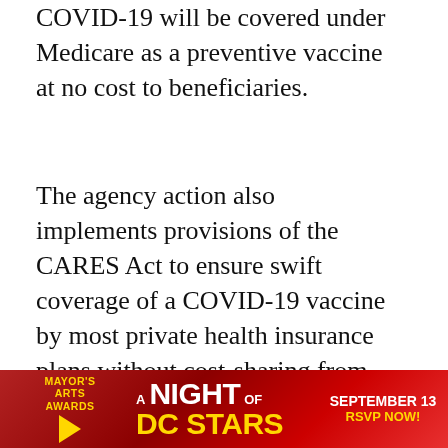COVID-19 will be covered under Medicare as a preventive vaccine at no cost to beneficiaries.
The agency action also implements provisions of the CARES Act to ensure swift coverage of a COVID-19 vaccine by most private health insurance plans without cost-sharing from both in and out-of-network providers during the course of the public health emergency.
As a condition of receiving free COVID-19
[Figure (infographic): Mayor's Arts Awards advertisement banner: 'A Night of DC Stars – September 13 RSVP Now!' with red background and gold text]